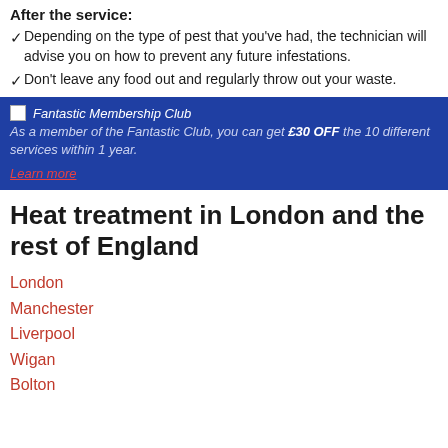After the service:
Depending on the type of pest that you've had, the technician will advise you on how to prevent any future infestations.
Don't leave any food out and regularly throw out your waste.
[Figure (infographic): Blue promotional banner for Fantastic Membership Club with text: As a member of the Fantastic Club, you can get £30 OFF the 10 different services within 1 year. Learn more.]
Heat treatment in London and the rest of England
London
Manchester
Liverpool
Wigan
Bolton